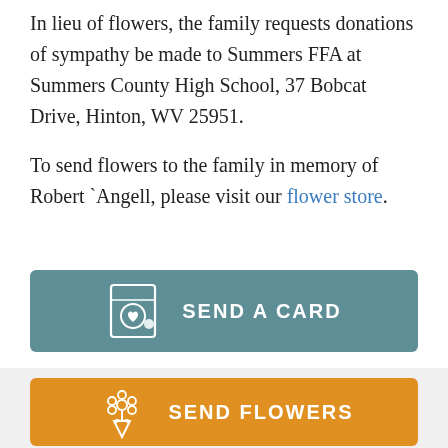In lieu of flowers, the family requests donations of sympathy be made to Summers FFA at Summers County High School, 37 Bobcat Drive, Hinton, WV 25951.
To send flowers to the family in memory of Robert `Angell, please visit our flower store.
[Figure (other): Teal button with greeting card icon and text SEND A CARD]
[Figure (other): Orange button with flower bouquet icon and text SEND FLOWERS on a light gray background]